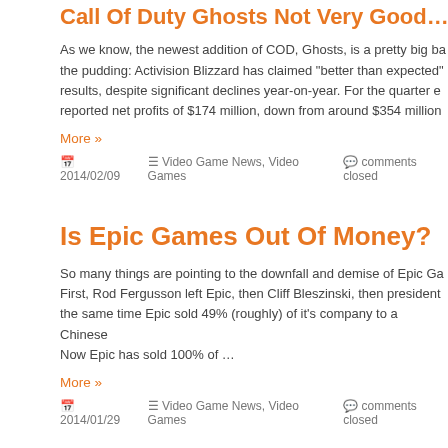Call Of Duty Ghosts Not Very Good….At A
As we know, the newest addition of COD, Ghosts, is a pretty big ba the pudding: Activision Blizzard has claimed "better than expected" results, despite significant declines year-on-year. For the quarter e reported net profits of $174 million, down from around $354 million
More »
2014/02/09   Video Game News, Video Games   comments closed
Is Epic Games Out Of Money?
So many things are pointing to the downfall and demise of Epic Ga First, Rod Fergusson left Epic, then Cliff Bleszinski, then president the same time Epic sold 49% (roughly) of it's company to a Chinese Now Epic has sold 100% of …
More »
2014/01/29   Video Game News, Video Games   comments closed
Xbox One Warning